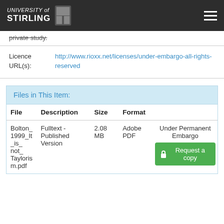UNIVERSITY of STIRLING
private study.
Licence URL(s): http://www.rioxx.net/licenses/under-embargo-all-rights-reserved
Files in This Item:
| File | Description | Size | Format |  |
| --- | --- | --- | --- | --- |
| Bolton_1999_It_is_not_Taylorism.pdf | Fulltext - Published Version | 2.08 MB | Adobe PDF | Under Permanent Embargo
Request a copy |